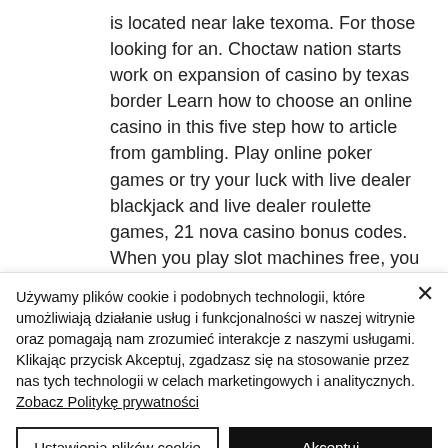is located near lake texoma. For those looking for an. Choctaw nation starts work on expansion of casino by texas border Learn how to choose an online casino in this five step how to article from gambling. Play online poker games or try your luck with live dealer blackjack and live dealer roulette games, 21 nova casino bonus codes. When you play slot machines free, you get a thrill that takes your mind off of everything else. Download the best slot machines app and
Używamy plików cookie i podobnych technologii, które umożliwiają działanie usług i funkcjonalności w naszej witrynie oraz pomagają nam zrozumieć interakcje z naszymi usługami. Klikając przycisk Akceptuj, zgadzasz się na stosowanie przez nas tych technologii w celach marketingowych i analitycznych. Zobacz Politykę prywatności
Ustawienia plików cookie
Akceptuj